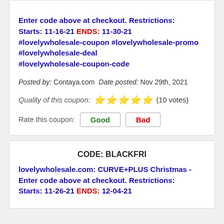Enter code above at checkout. Restrictions: Starts: 11-16-21 ENDS: 11-30-21 #lovelywholesale-coupon #lovelywholesale-promo #lovelywholesale-deal #lovelywholesale-coupon-code
Posted by: Contaya.com Date posted: Nov 29th, 2021
Quality of this coupon: ★★★★★ (10 votes)
Rate this coupon: Good | Bad
CODE: BLACKFRI
lovelywholesale.com: CURVE+PLUS Christmas - Enter code above at checkout. Restrictions: Starts: 11-26-21 ENDS: 12-04-21